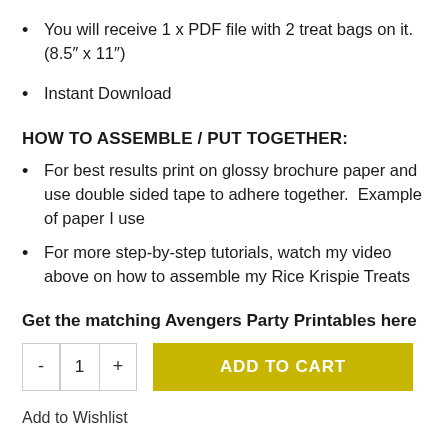You will receive 1 x PDF file with 2 treat bags on it. (8.5" x 11")
Instant Download
HOW TO ASSEMBLE / PUT TOGETHER:
For best results print on glossy brochure paper and use double sided tape to adhere together. Example of paper I use
For more step-by-step tutorials, watch my video above on how to assemble my Rice Krispie Treats
Get the matching Avengers Party Printables here
- 1 + ADD TO CART
Add to Wishlist